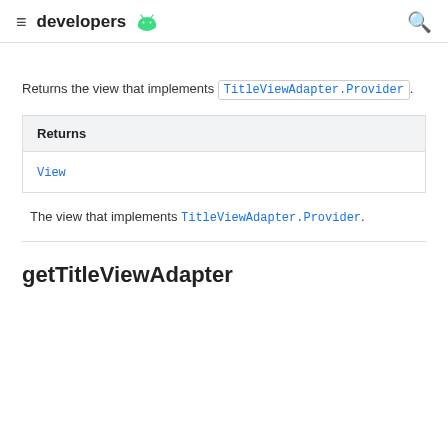developers [Android logo]
Returns the view that implements TitleViewAdapter.Provider.
| Returns |
| --- |
| View |
The view that implements TitleViewAdapter.Provider.
getTitleViewAdapter